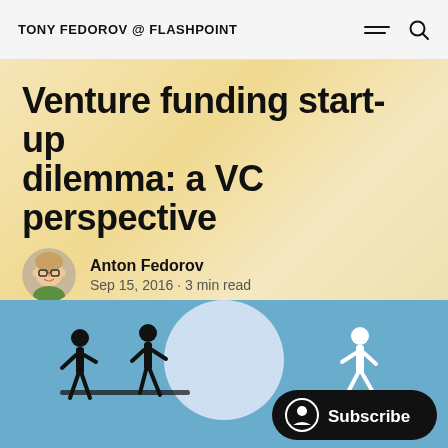TONY FEDOROV @ FLASHPOINT
Venture funding start-up dilemma: a VC perspective
Anton Fedorov
Sep 15, 2016 · 3 min read
[Figure (illustration): Blue background illustration showing stick figures running/chasing, with a large white circle/moon in the background, and a black rounded Subscribe button with person icon in the foreground]